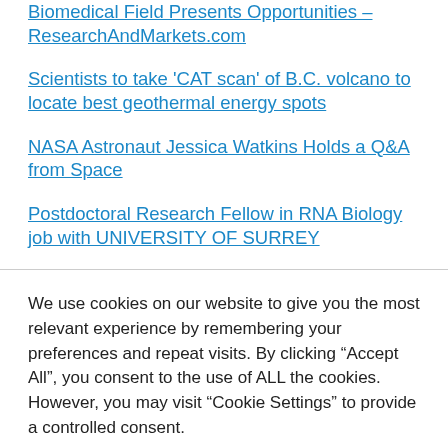Biomedical Field Presents Opportunities – ResearchAndMarkets.com
Scientists to take 'CAT scan' of B.C. volcano to locate best geothermal energy spots
NASA Astronaut Jessica Watkins Holds a Q&A from Space
Postdoctoral Research Fellow in RNA Biology job with UNIVERSITY OF SURREY
We use cookies on our website to give you the most relevant experience by remembering your preferences and repeat visits. By clicking “Accept All”, you consent to the use of ALL the cookies. However, you may visit "Cookie Settings" to provide a controlled consent.
Cookie Settings
Accept All